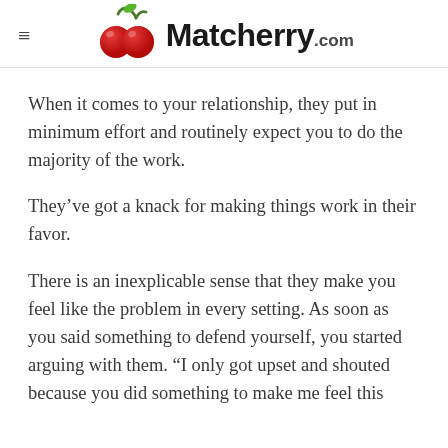Matcherry.com
When it comes to your relationship, they put in minimum effort and routinely expect you to do the majority of the work.
They’ve got a knack for making things work in their favor.
There is an inexplicable sense that they make you feel like the problem in every setting. As soon as you said something to defend yourself, you started arguing with them. “I only got upset and shouted because you did something to make me feel this